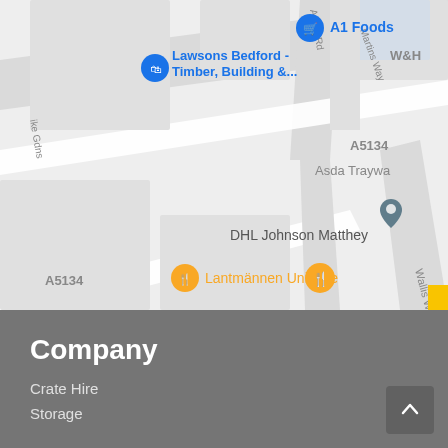[Figure (map): Google Maps screenshot showing roads in Bedford area including A5134, Aston Rd, Martins Way, Wallis Way, and landmarks including A1 Foods, Lawsons Bedford Timber Building, DHL Johnson Matthey, Lantmännen Unibake, and Asda Traywa.]
Company
Crate Hire
Storage